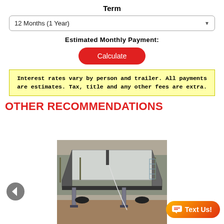Term
12 Months (1 Year)
Estimated Monthly Payment:
Calculate
Interest rates vary by person and trailer. All payments are estimates. Tax, title and any other fees are extra.
OTHER RECOMMENDATIONS
[Figure (photo): Photo of a flatbed trailer viewed from above-rear angle, showing a silver/white flat deck, jack stands, and electrical wiring, parked on dirt ground.]